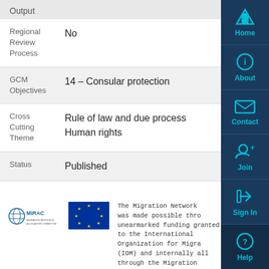Output
| Field | Value |
| --- | --- |
| Regional Review Process | No |
| GCM Objectives | 14 - Consular protection |
| Cross Cutting Theme | Rule of law and due process
Human rights |
| Status | Published |
[Figure (logo): MiRAC - Migration Resource Allocation Committee logo]
[Figure (logo): European Union flag logo]
The Migration Network was made possible through unearmarked funding granted to the International Organization for Migration (IOM) and internally allocated through the Migration